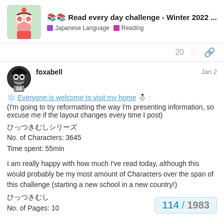📚📚 Read every day challenge - Winter 2022 ... — Japanese Language · Reading
20 ♡ 🔗
foxabell — Jan 2
❄️ Everyone is welcome to visit my home ⛄ :
(I'm going to try reformatting the way I'm presenting information, so excuse me if the layout changes every time I post)
ひっつきむしシリーズ
No. of Characters: 3645
Time spent: 55min
I am really happy with how much I've read today, although this would probably be my most amount of Characters over the span of this challenge (starting a new school in a new country!)
ひっつきむし
No. of Pages: 10
114 / 1983